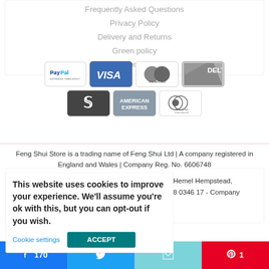Frequently Asked Questions
Privacy Policy
Delivery and Returns
Green policy
Sitemap
[Figure (logo): Payment method logos: PayPal Express Checkout, Visa, MasterCard, Delta, a card logo, American Express, Diners Club International]
Feng Shui Store is a trading name of Feng Shui Ltd | A company registered in England and Wales | Company Reg. No. 6606748
This website uses cookies to improve your experience. We'll assume you're ok with this, but you can opt-out if you wish.
Cookie settings  ACCEPT
170  1